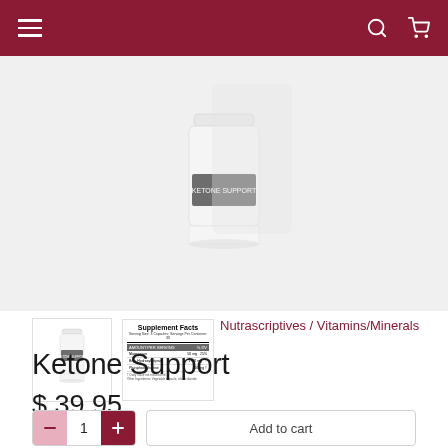Navigation bar with hamburger menu, search and cart icons
[Figure (photo): Product image area showing Ketone Support supplement bottle on light gray background]
[Figure (photo): Thumbnail of Ketone Support supplement bottle]
[Figure (photo): Thumbnail showing Supplement Facts label for Ketone Support]
Nutrascriptives / Vitamins/Minerals
Ketone Support
$ 39.95
Add to cart